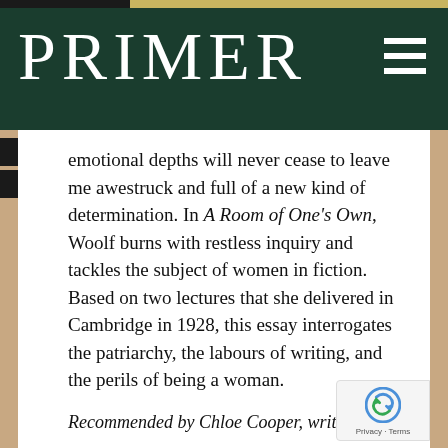PRIMER
emotional depths will never cease to leave me awestruck and full of a new kind of determination. In A Room of One's Own, Woolf burns with restless inquiry and tackles the subject of women in fiction. Based on two lectures that she delivered in Cambridge in 1928, this essay interrogates the patriarchy, the labours of writing, and the perils of being a woman.
Recommended by Chloe Cooper, write…
Thick & Other Essays, Tressie…